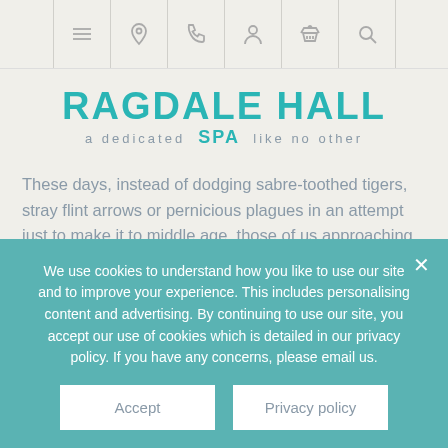Navigation bar with icons: menu, location, phone, person, basket, search
RAGDALE HALL a dedicated SPA like no other
These days, instead of dodging sabre-toothed tigers, stray flint arrows or pernicious plagues in an attempt just to make it to middle age, those of us approaching or in the throes of our forties devote our dwindling energies to waging war on wrinkles.
Our main concern, in this softer, more pampered society, is
We use cookies to understand how you like to use our site and to improve your experience. This includes personalising content and advertising. By continuing to use our site, you accept our use of cookies which is detailed in our privacy policy. If you have any concerns, please email us.
Accept | Privacy policy